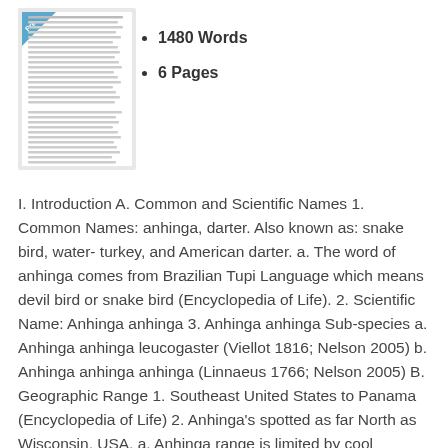[Figure (illustration): Preview thumbnail of a document page with a blue 'Preview' banner in the top-left corner. The page shows dense text content simulating a student paper.]
1480 Words
6 Pages
I. Introduction A. Common and Scientific Names 1. Common Names: anhinga, darter. Also known as: snake bird, water- turkey, and American darter. a. The word of anhinga comes from Brazilian Tupi Language which means devil bird or snake bird (Encyclopedia of Life). 2. Scientific Name: Anhinga anhinga 3. Anhinga anhinga Sub-species a. Anhinga anhinga leucogaster (Viellot 1816; Nelson 2005) b. Anhinga anhinga anhinga (Linnaeus 1766; Nelson 2005) B. Geographic Range 1. Southeast United States to Panama (Encyclopedia of Life) 2. Anhinga's spotted as far North as Wisconsin, USA. a. Anhinga range is limited by cool temperatures and low